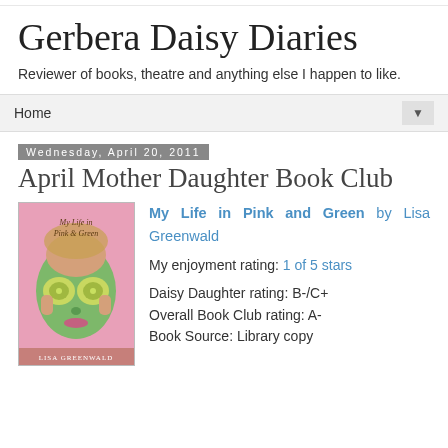Gerbera Daisy Diaries
Reviewer of books, theatre and anything else I happen to like.
Home ▼
Wednesday, April 20, 2011
April Mother Daughter Book Club
[Figure (photo): Book cover of My Life in Pink and Green showing a girl with a green face mask and cucumber slices over her eyes]
My Life in Pink and Green by Lisa Greenwald

My enjoyment rating: 1 of 5 stars
Daisy Daughter rating: B-/C+
Overall Book Club rating:  A-
Book Source:  Library copy